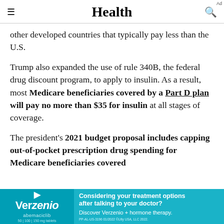Health
other developed countries that typically pay less than the U.S.
Trump also expanded the use of rule 340B, the federal drug discount program, to apply to insulin. As a result, most Medicare beneficiaries covered by a Part D plan will pay no more than $35 for insulin at all stages of coverage.
The president's 2021 budget proposal includes capping out-of-pocket prescription drug spending for Medicare beneficiaries covered
[Figure (other): Advertisement for Verzenio (abemaciclib) with teal background. Text: 'Considering your treatment options after talking to your doctor? Discover Verzenio + hormone therapy.' With disclaimer text and Eli Lilly logo.]